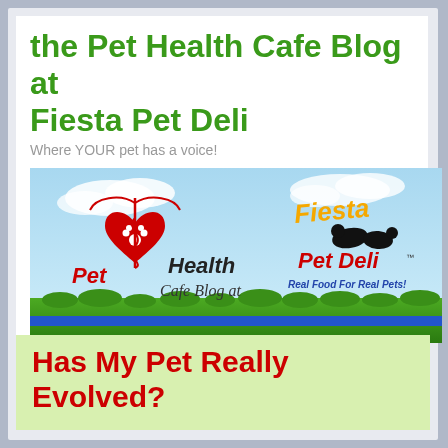the Pet Health Cafe Blog at Fiesta Pet Deli
Where YOUR pet has a voice!
[Figure (logo): Pet Health Cafe Blog at Fiesta Pet Deli banner image with sky, grass, pet health cafe logo on left and Fiesta Pet Deli logo on right with text 'Real Food For Real Pets!']
the Pet Health Cafe… Where your pets have a voice.
Has My Pet Really Evolved?